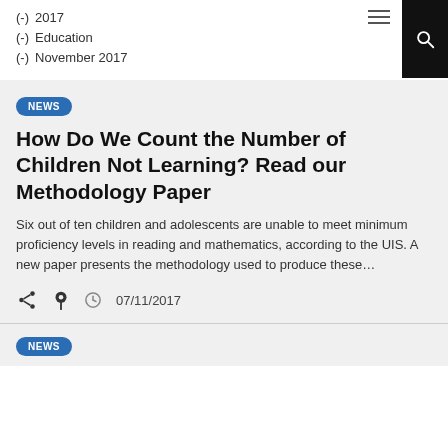(-) 2017
(-) Education
(-) November 2017
NEWS
How Do We Count the Number of Children Not Learning? Read our Methodology Paper
Six out of ten children and adolescents are unable to meet minimum proficiency levels in reading and mathematics, according to the UIS. A new paper presents the methodology used to produce these…
07/11/2017
NEWS